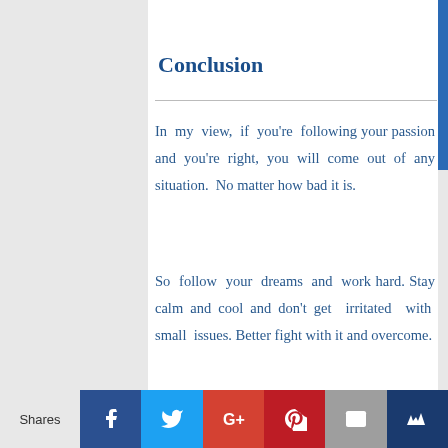Conclusion
In my view, if you’re following your passion and you’re right, you will come out of any situation. No matter how bad it is.
So follow your dreams and work hard. Stay calm and cool and don’t get irritated with small issues. Better fight with it and overcome.
Shares | Facebook | Twitter | Google+ | Pinterest | Email | Crown